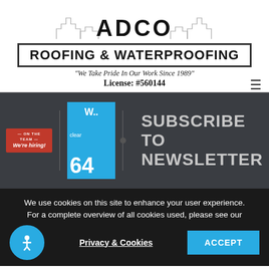[Figure (logo): ADCO Roofing & Waterproofing company logo with skyline silhouette background, tagline and license number]
"We Take Pride In Our Work Since 1989"
License: #560144
[Figure (screenshot): Dark website footer section showing a We're Hiring badge, a weather widget showing 64 degrees clear, and SUBSCRIBE TO NEWSLETTER text]
We use cookies on this site to enhance your user experience. For a complete overview of all cookies used, please see our
Privacy & Cookies
ACCEPT